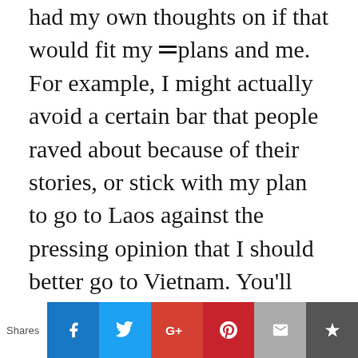had my own thoughts on if that would fit my plans and me. For example, I might actually avoid a certain bar that people raved about because of their stories, or stick with my plan to go to Laos against the pressing opinion that I should better go to Vietnam. You'll meet so many people with so many different ideas on what you should and shouldn't do. You learn to trust your own opinions and desires more.
China was all preplanned because I did a tour there. Indonesia I left up to Joran to
[Figure (infographic): Social sharing bar with Shares label and buttons for Facebook, Twitter, Google+, Pinterest, Email, and a bookmark/crown icon]